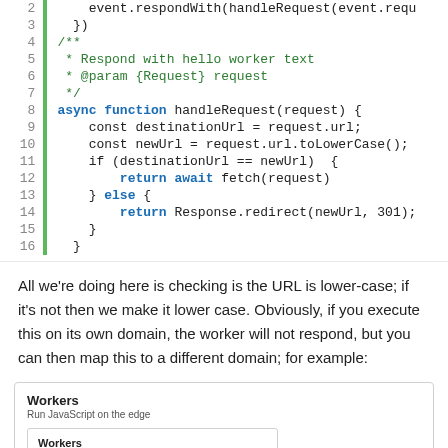[Figure (screenshot): Code editor showing JavaScript lines 2-16 with syntax highlighting. Green left border. Line numbers in grey, keywords in blue bold, comments in green.]
All we're doing here is checking is the URL is lower-case; if it's not then we make it lower case. Obviously, if you execute this on its own domain, the worker will not respond, but you can then map this to a different domain; for example:
[Figure (screenshot): Screenshot of a Cloudflare Workers UI panel showing 'Workers - Run JavaScript on the edge' heading with a nested panel showing 'Workers - Run JavaScript Service Workers in hundreds of Cloudflare data centers around the world. Modify a site's HTTP requests and responses, make parallel requests, or generate responses']